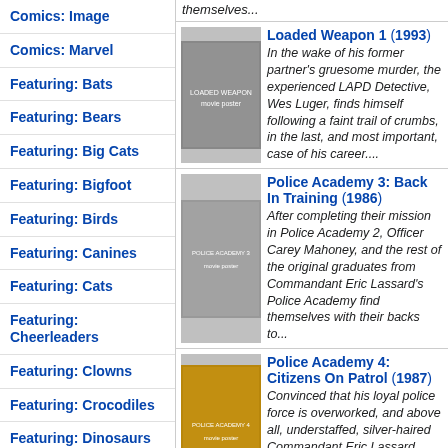Comics: Image
Comics: Marvel
Featuring: Bats
Featuring: Bears
Featuring: Big Cats
Featuring: Bigfoot
Featuring: Birds
Featuring: Canines
Featuring: Cats
Featuring: Cheerleaders
Featuring: Clowns
Featuring: Crocodiles
Featuring: Dinosaurs
themselves...
Loaded Weapon 1 (1993) In the wake of his former partner's gruesome murder, the experienced LAPD Detective, Wes Luger, finds himself following a faint trail of crumbs, in the last, and most important, case of his career....
Police Academy 3: Back In Training (1986) After completing their mission in Police Academy 2, Officer Carey Mahoney, and the rest of the original graduates from Commandant Eric Lassard's Police Academy find themselves with their backs to...
Police Academy 4: Citizens On Patrol (1987) Convinced that his loyal police force is overworked, and above all, understaffed, silver-haired Commandant Eric Lassard comes up with a bold idea: why not recruit eager civilians to lend a hand in...
Police Academy 5: Assignment: Miami Beach (1988) Indeed, it seems that some people never learn, and after the recent fiasco of conniving Captain Harris in Police Academy 4, once more, the sneaky officer wants to take over the ageing